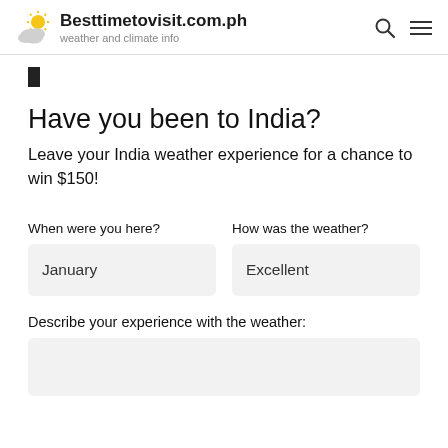Besttimetovisit.com.ph — weather and climate info
Have you been to India?
Leave your India weather experience for a chance to win $150!
When were you here?
How was the weather?
January
Excellent
Describe your experience with the weather: